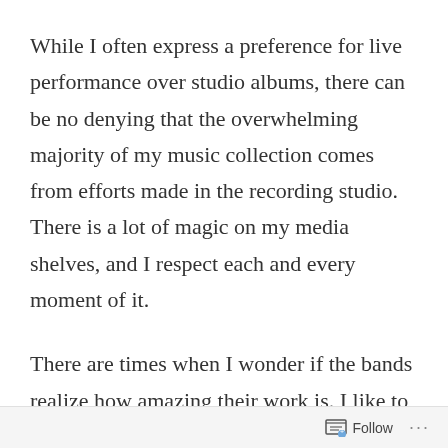While I often express a preference for live performance over studio albums, there can be no denying that the overwhelming majority of my music collection comes from efforts made in the recording studio. There is a lot of magic on my media shelves, and I respect each and every moment of it.
There are times when I wonder if the bands realize how amazing their work is. I like to imagine Led Zeppelin sitting in the control room after a recording session, listening back to their efforts.
Follow ···